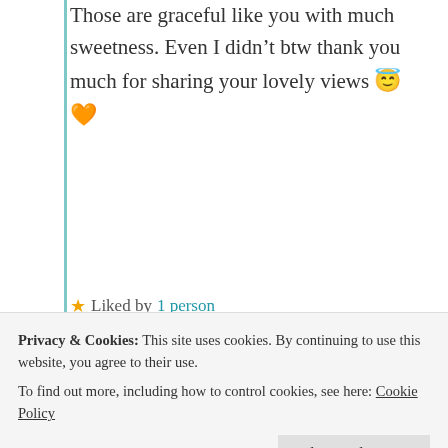Those are graceful like you with much sweetness. Even I didn't btw thank you much for sharing your lovely views 😇🧡
★ Liked by 1 person
Log in to Reply
[Figure (photo): Round avatar photo of GraceoftheSun commenter with brown hair]
GraceoftheSun
Privacy & Cookies: This site uses cookies. By continuing to use this website, you agree to their use. To find out more, including how to control cookies, see here: Cookie Policy
Close and accept
friend.Thank YOU for